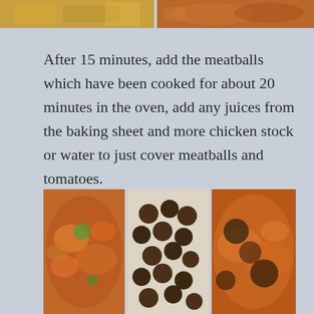[Figure (photo): Two food photos at top: left shows cooked pasta or vegetables, right shows a pot with tomato-based dish]
After 15 minutes, add the meatballs which have been cooked for about 20 minutes in the oven, add any juices from the baking sheet and more chicken stock or water to just cover meatballs and tomatoes.
[Figure (photo): Three cooking photos: left shows tomato sauce with vegetables in pot, center shows meatballs on baking sheet, right shows meatballs in tomato sauce in pot]